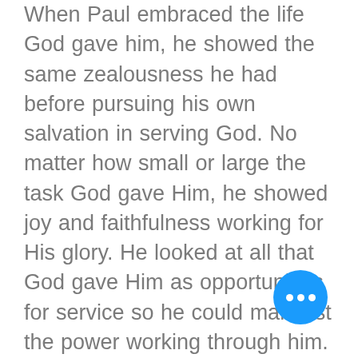When Paul embraced the life God gave him, he showed the same zealousness he had before pursuing his own salvation in serving God. No matter how small or large the task God gave Him, he showed joy and faithfulness working for His glory. He looked at all that God gave Him as opportunities for service so he could manifest the power working through him. God in His grace poured out faith and love in his life. Our ability to serve is not based on our merits and accomplishments in the past. It is based on God's grace and on how we allow Him to lead us. Paul was grateful for God's grace that he decided to commit his life to God in obedience to Him. Our character and lifestyle are results of our beliefs. If we claim that we believe in the